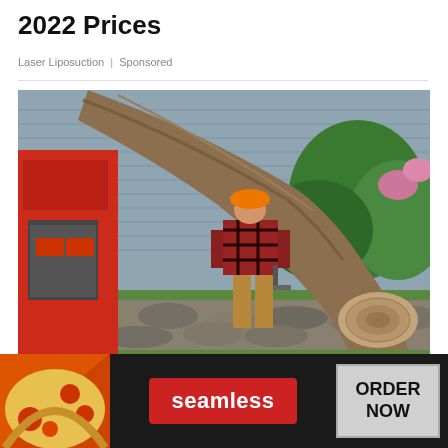2022 Prices
Laser Liposuction | Sponsored
[Figure (photo): A tree removal worker in an orange hard hat and red plaid shirt stands next to a large felled tree trunk near a red wood chipper, with a house and green bushes in the background.]
Take a Look at the Average Price to Cut
[Figure (photo): Advertisement banner: Seamless food delivery ad with pizza image on left, red 'seamless' button in center, and grey 'ORDER NOW' button on right, on dark background.]